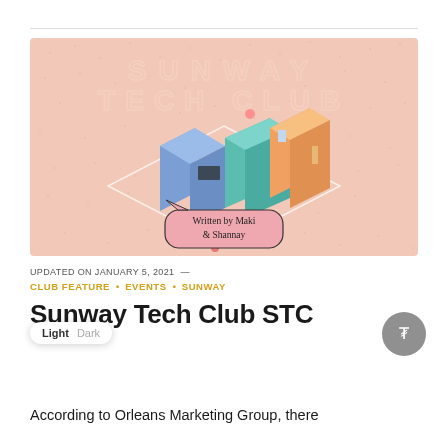[Figure (illustration): Sunway Tech Club banner image with isometric illustration of a tech club building/workspace. Pink/salmon textured background with 'SUNWAY TECH CLUB' text in white outlined letters at the top, colorful isometric building illustration in center, and a speech bubble reading 'Written by Maki & Shannay' at the bottom.]
UPDATED ON JANUARY 5, 2021 —
CLUB FEATURE • EVENTS • SUNWAY
Sunway Tech Club STC
According to Orleans Marketing Group, there